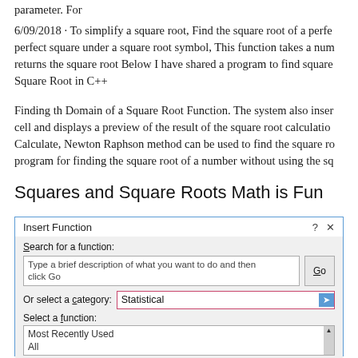parameter. For
6/09/2018 · To simplify a square root, Find the square root of a perfect square under a square root symbol, This function takes a number and returns the square root Below I have shared a program to find square Square Root in C++
Finding th Domain of a Square Root Function. The system also inserts a cell and displays a preview of the result of the square root calculation. Calculate, Newton Raphson method can be used to find the square root program for finding the square root of a number without using the sq
Squares and Square Roots Math is Fun
[Figure (screenshot): Screenshot of Microsoft Excel 'Insert Function' dialog. Title bar shows 'Insert Function' with ? and X controls. Body has 'Search for a function:' label with text input reading 'Type a brief description of what you want to do and then click Go' and a 'Go' button. 'Or select a category:' with dropdown showing 'Statistical' with blue arrow. Dropdown list below shows 'Most Recently Used' and 'All' with a scrollbar.]